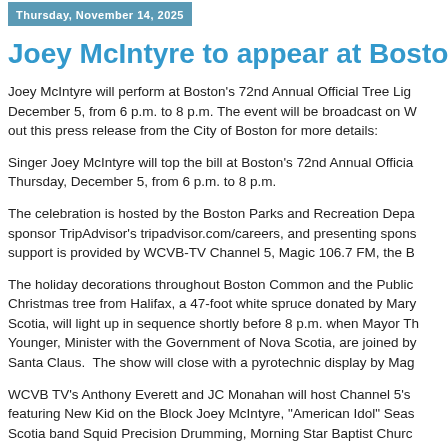Thursday, November 14, 2025
Joey McIntyre to appear at Boston's Official Tree Lighting
Joey McIntyre will perform at Boston's 72nd Annual Official Tree Lighting on December 5, from 6 p.m. to 8 p.m. The event will be broadcast on W... Check out this press release from the City of Boston for more details:
Singer Joey McIntyre will top the bill at Boston's 72nd Annual Official... Thursday, December 5, from 6 p.m. to 8 p.m.
The celebration is hosted by the Boston Parks and Recreation Department... sponsor TripAdvisor's tripadvisor.com/careers, and presenting spons... support is provided by WCVB-TV Channel 5, Magic 106.7 FM, the B...
The holiday decorations throughout Boston Common and the Public... Christmas tree from Halifax, a 47-foot white spruce donated by Mary... Scotia, will light up in sequence shortly before 8 p.m. when Mayor Th... Younger, Minister with the Government of Nova Scotia, are joined by... Santa Claus.  The show will close with a pyrotechnic display by Mag...
WCVB TV's Anthony Everett and JC Monahan will host Channel 5's... featuring New Kid on the Block Joey McIntyre, "American Idol" Seas... Scotia band Squid Precision Drumming, Morning Star Baptist Churc... junior dance team LilPhunk, and representatives of the Boston Red...